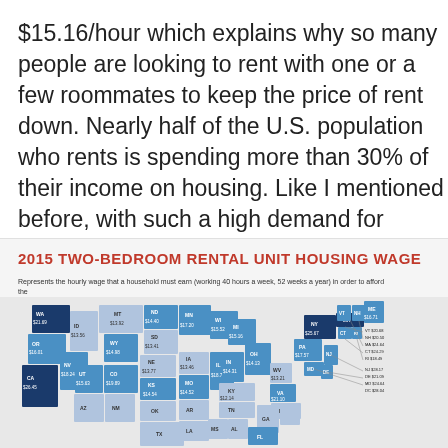$15.16/hour which explains why so many people are looking to rent with one or a few roommates to keep the price of rent down. Nearly half of the U.S. population who rents is spending more than 30% of their income on housing. Like I mentioned before, with such a high demand for housing in Denver and not enough supply, rental places can charge higher amounts.
[Figure (map): US choropleth map showing 2015 two-bedroom rental unit housing wage by state. Represents the hourly wage that a household must earn (working 40 hours a week, 52 weeks a year) in order to afford the Fair Market Rent for a two-bedroom rental unit, without paying more than 30% of their income. States shown with labels and dollar amounts including WA $21.69, OR $16.01, CA $26.45, NV $18.24, UT $15.63, ID $13.56, MT $13.92, WY $14.98, CO $19.89, ND $14.40, SD $13.41, NE $13.77, KS $14.54, MN $17.20, IA $13.46, MO $14.52, WI $15.52, MI $15.16, IL $18.78, IN $14.31, OH $14.13, KY $12.14, WV $13.21, VA $21.10, PA $17.57, NY $25.67, ME $16.71, VT $20.68, NH $20.50, MA $24.64, CT $24.29, RI $18.49, NJ $28.17, DE $21.09, MD $24.64, DC $28.04]